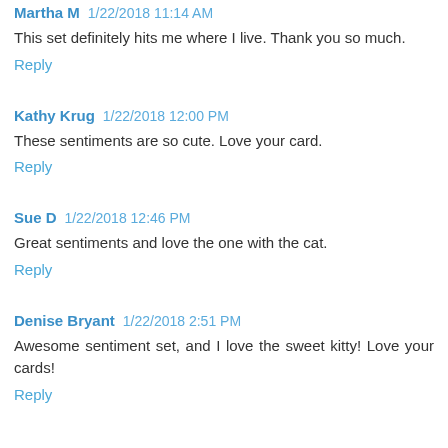Martha M 1/22/2018 11:14 AM
This set definitely hits me where I live. Thank you so much.
Reply
Kathy Krug 1/22/2018 12:00 PM
These sentiments are so cute. Love your card.
Reply
Sue D 1/22/2018 12:46 PM
Great sentiments and love the one with the cat.
Reply
Denise Bryant 1/22/2018 2:51 PM
Awesome sentiment set, and I love the sweet kitty! Love your cards!
Reply